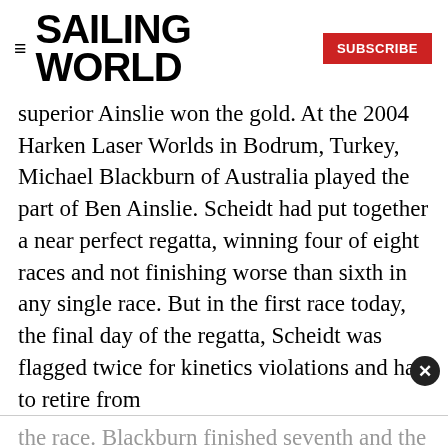SAILING WORLD | SUBSCRIBE
superior Ainslie won the gold. At the 2004 Harken Laser Worlds in Bodrum, Turkey, Michael Blackburn of Australia played the part of Ben Ainslie. Scheidt had put together a near perfect regatta, winning four of eight races and not finishing worse than sixth in any single race. But in the first race today, the final day of the regatta, Scheidt was flagged twice for kinetics violations and had to retire from
the race. Blackburn finished seventh and the lead was just four points. More